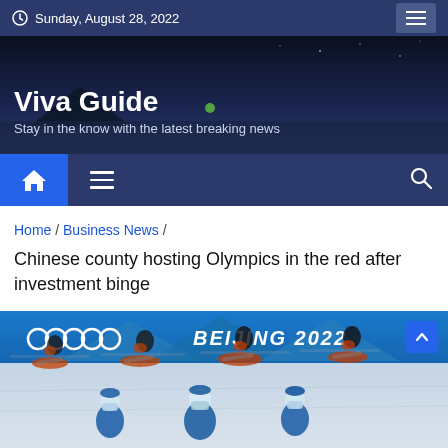Sunday, August 28, 2022
Viva Guide
Stay in the know with the latest breaking news
Home / Business News / Chinese county hosting Olympics in the red after investment binge
[Figure (photo): Speed skaters competing at Beijing 2022 Winter Olympics, with officials in blue medical gowns visible in the foreground]
BEIJING 2022